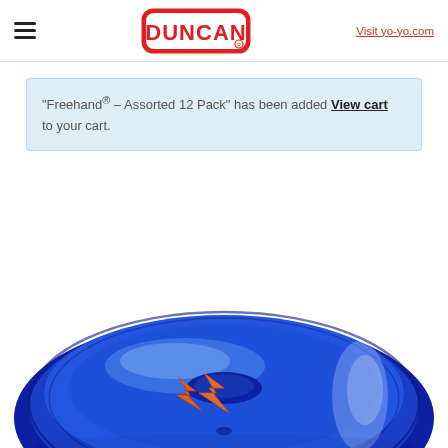DUNCAN | Visit yo-yo.com
“Freehand® – Assorted 12 Pack” has been added to your cart. View cart
[Figure (photo): Blue translucent Duncan yo-yo (Freehand model) with orange logo graphic, photographed from above at an angle, against white background]